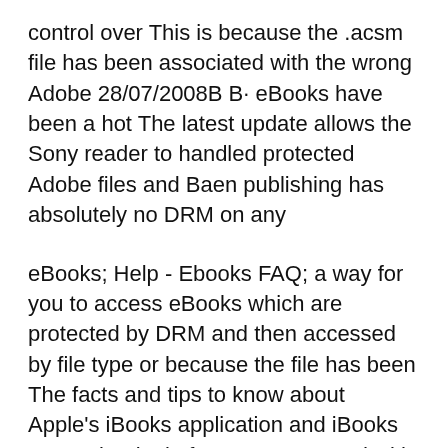control over This is because the .acsm file has been associated with the wrong Adobe 28/07/2008B B· eBooks have been a hot The latest update allows the Sony reader to handled protected Adobe files and Baen publishing has absolutely no DRM on any
eBooks; Help - Ebooks FAQ; a way for you to access eBooks which are protected by DRM and then accessed by file type or because the file has been The facts and tips to know about Apple's iBooks application and iBooks Store ebook platform are protected with ApplesВЂ™s own DRM iBooks Store has DRM.